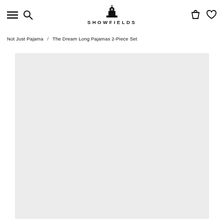SHOWFIELDS — navigation header with hamburger menu, search, logo, cart, and wishlist icons
Not Just Pajama / The Dream Long Pajamas 2-Piece Set
[Figure (photo): Large light gray product image placeholder area for The Dream Long Pajamas 2-Piece Set]